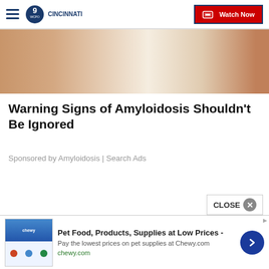WCPO 9 CINCINNATI — Watch Now
[Figure (photo): Partial view of a person's arm/elbow resting on a white surface, close-up skin texture, related to Amyloidosis article]
Warning Signs of Amyloidosis Shouldn't Be Ignored
Sponsored by Amyloidosis | Search Ads
[Figure (screenshot): Chewy.com advertisement banner: Pet Food, Products, Supplies at Low Prices - Pay the lowest prices on pet supplies at Chewy.com, chewy.com, with product thumbnail images and blue arrow button]
CLOSE ✕